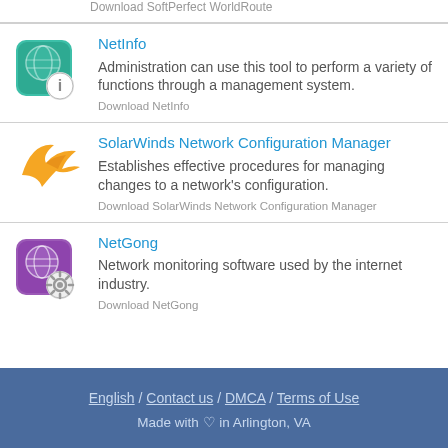Download SoftPerfect WorldRoute
[Figure (logo): NetInfo app icon - teal/green square with globe and info circle overlay]
NetInfo
Administration can use this tool to perform a variety of functions through a management system.
Download NetInfo
[Figure (logo): SolarWindds Network Configuration Manager icon - orange angular bird/arrow shape]
SolarWinds Network Configuration Manager
Establishes effective procedures for managing changes to a network's configuration.
Download SolarWinds Network Configuration Manager
[Figure (logo): NetGong app icon - purple square with globe and gear overlay]
NetGong
Network monitoring software used by the internet industry.
Download NetGong
English / Contact us / DMCA / Terms of Use  Made with ♡ in Arlington, VA